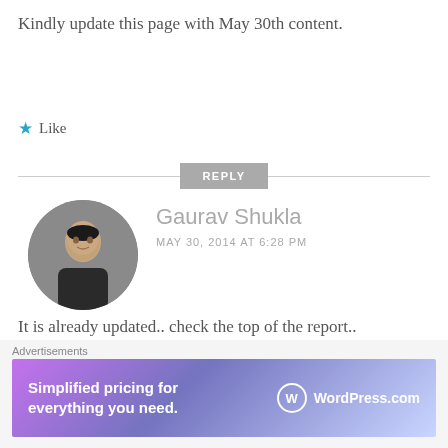Kindly update this page with May 30th content.
Like
REPLY
Gaurav Shukla
MAY 30, 2014 AT 6:28 PM
[Figure (photo): Circular avatar photo of Gaurav Shukla, a man in a dark shirt against a grey background]
It is already updated.. check the top of the report..
Advertisements
Simplified pricing for everything you need. WordPress.com